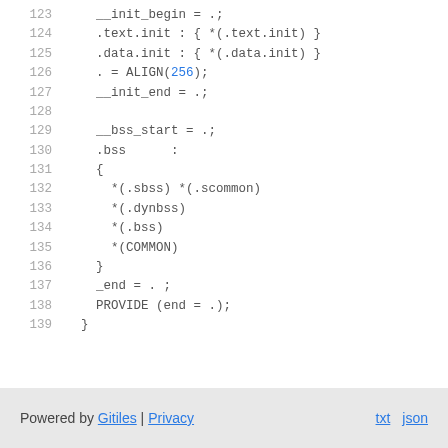123   __init_begin = .;
124   .text.init : { *(.text.init) }
125   .data.init : { *(.data.init) }
126   . = ALIGN(256);
127   __init_end = .;
128
129   __bss_start = .;
130   .bss      :
131   {
132     *(.sbss) *(.scommon)
133     *(.dynbss)
134     *(.bss)
135     *(COMMON)
136   }
137   _end = . ;
138   PROVIDE (end = .);
139 }
Powered by Gitiles | Privacy    txt  json